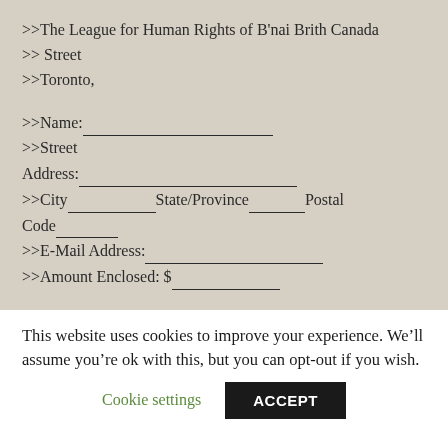>>The League for Human Rights of B'nai Brith Canada
>> Street
>>Toronto,
>>Name:____________________________
>>Street
Address:_______________________________
>>City____________State/Province________Postal Code______
>>E-Mail Address:___________________________
>>Amount Enclosed: $__________
>>Please make your donations payable to “The League for
This website uses cookies to improve your experience. We’ll assume you’re ok with this, but you can opt-out if you wish.
Cookie settings
ACCEPT